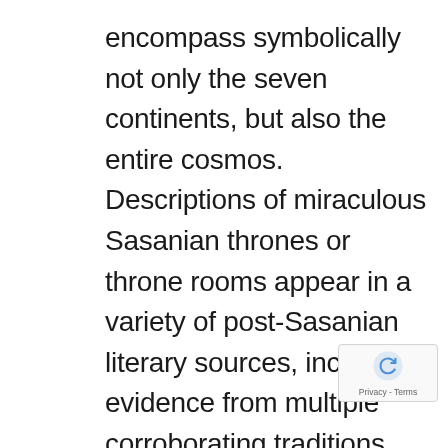encompass symbolically not only the seven continents, but also the entire cosmos. Descriptions of miraculous Sasanian thrones or throne rooms appear in a variety of post-Sasanian literary sources, including evidence from multiple corroborating traditions. These include Roman campaign dispatches, reports of the Arab sack of the empire's sprawling administrative centre in Mesopotamia clustering around Ctesiphon in AD 637, medieval Islamic chronicles and poetic remembrances deriving from Sasanian court propaganda, and later tenth-century eyewitness accounts of the ruins in geographical texts. The audience hall at the sanctuary of Adur Gushnasp (modern Takht-e Solayman) is said to have been equipped with automata to create artificial thunder and rain and portrayed the king of kings in
[Figure (other): reCAPTCHA badge with Privacy - Terms label]